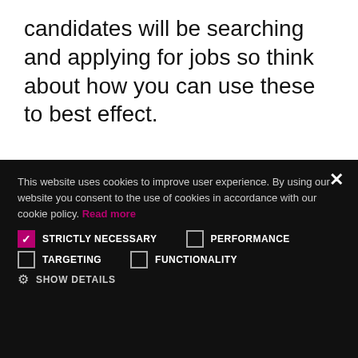candidates will be searching and applying for jobs so think about how you can use these to best effect.
[Figure (screenshot): Cookie consent overlay on a dark background with options for Strictly Necessary (checked), Performance, Targeting, Functionality checkboxes, Show Details option, and Accept All / Decline All buttons]
This website uses cookies to improve user experience. By using our website you consent to the use of cookies in accordance with our cookie policy. Read more
STRICTLY NECESSARY (checked)
PERFORMANCE (unchecked)
TARGETING (unchecked)
FUNCTIONALITY (unchecked)
SHOW DETAILS
ACCEPT ALL
DECLINE ALL